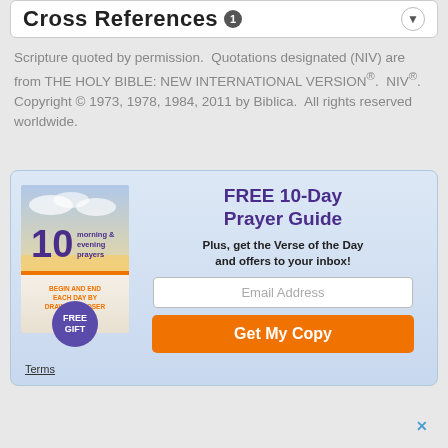Cross References 1
Scripture quoted by permission.  Quotations designated (NIV) are from THE HOLY BIBLE: NEW INTERNATIONAL VERSION®.  NIV®.  Copyright © 1973, 1978, 1984, 2011 by Biblica.  All rights reserved worldwide.
[Figure (illustration): Promotional box with light blue gradient background containing a book cover for '10 morning & evening prayers' with FREE GIFT badge, a headline 'FREE 10-Day Prayer Guide', sub-text 'Plus, get the Verse of the Day and offers to your inbox!', an email address input field, and an orange 'Get My Copy' button, with a 'Terms' link at bottom left.]